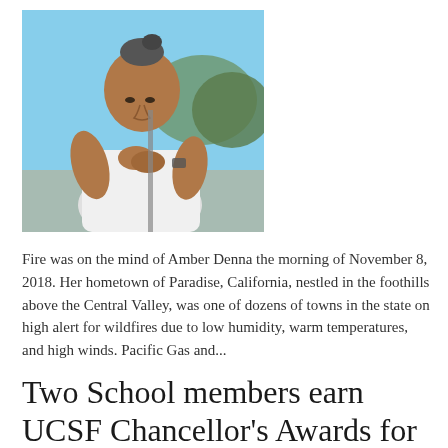[Figure (photo): An elderly person with grey hair in a bun, wearing a white t-shirt, leaning forward with hands clasped, looking down thoughtfully. Outdoor setting with blue sky and trees in the background.]
Fire was on the mind of Amber Denna the morning of November 8, 2018. Her hometown of Paradise, California, nestled in the foothills above the Central Valley, was one of dozens of towns in the state on high alert for wildfires due to low humidity, warm temperatures, and high winds. Pacific Gas and...
Two School members earn UCSF Chancellor's Awards for Diversity